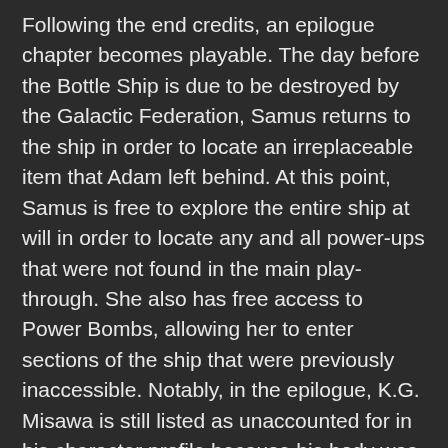Following the end credits, an epilogue chapter becomes playable. The day before the Bottle Ship is due to be destroyed by the Galactic Federation, Samus returns to the ship in order to locate an irreplaceable item that Adam left behind. At this point, Samus is free to explore the entire ship at will in order to locate any and all power-ups that were not found in the main play-through. She also has free access to Power Bombs, allowing her to enter sections of the ship that were previously inaccessible. Notably, in the epilogue, K.G. Misawa is still listed as unaccounted for in his character profile because his body was dumped in lava and thus could never be found.
During the epilogue, Samus encounters Phantoon, originally from Super Metroid, as a bonus boss fight. Shortly after, she makes her way into the command room where Adam had stationed himself for most of the game and locates his helmet. Samus removes her power suit before picking it up, and a flashback from Adam's